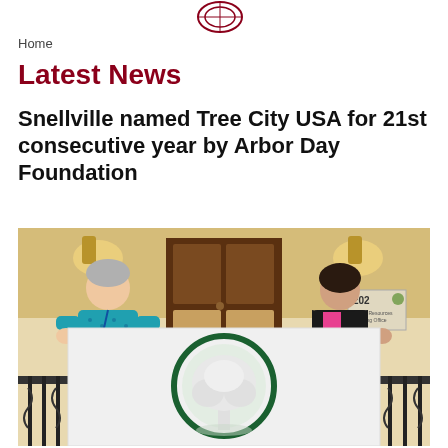[Figure (logo): Snellville city logo/seal at top center]
Home
Latest News
Snellville named Tree City USA for 21st consecutive year by Arbor Day Foundation
[Figure (photo): Two people holding a white Tree City USA flag with green tree logo inside a circle, standing on a balcony in front of a wooden door inside a building. The person on the left wears a teal/blue patterned shirt, the person on the right wears a black jacket over a pink top.]